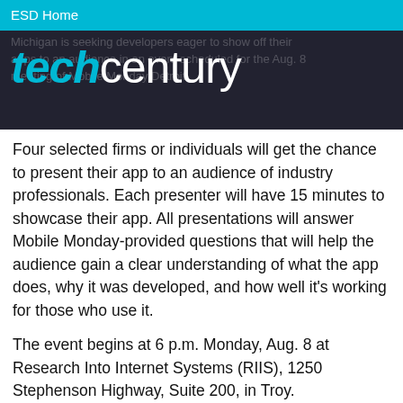ESD Home
[Figure (logo): TechCentury logo with background text about Michigan seeking developers for Aug. 8 event]
Four selected firms or individuals will get the chance to present their app to an audience of industry professionals. Each presenter will have 15 minutes to showcase their app. All presentations will answer Mobile Monday-provided questions that will help the audience gain a clear understanding of what the app does, why it was developed, and how well it's working for those who use it.
The event begins at 6 p.m. Monday, Aug. 8 at Research Into Internet Systems (RIIS), 1250 Stephenson Highway, Suite 200, in Troy.
The deadline for entry is Monday, July 25. Entry details may be found at www.gomobilemichigan.org/app-